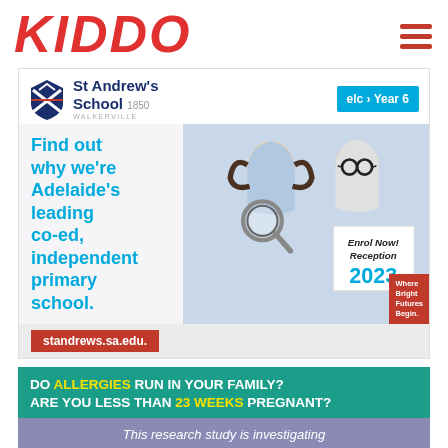KIDDO
[Figure (illustration): St Andrew's School advertisement featuring two children, one holding a magnifying glass and the other holding an 'Enrol Now! Reception 2023' sign. Text: Find out why we're Adelaide's leading co-ed, independent primary school. standrews.sa.edu. elc > Year 6. Where Bright Futures Begin.]
DO ALLERGIES RUN IN YOUR FAMILY? ARE YOU LESS THAN 23 WEEKS PREGNANT?
This research study is investigating how to reduce food allergies in babies